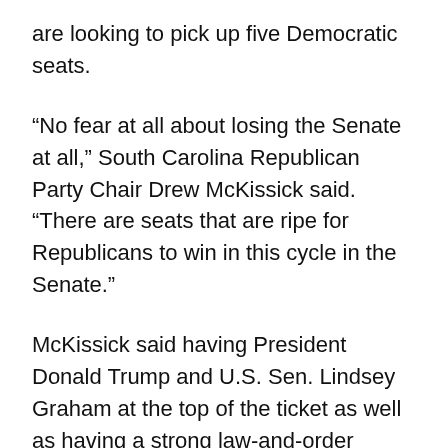are looking to pick up five Democratic seats.
“No fear at all about losing the Senate at all,” South Carolina Republican Party Chair Drew McKissick said. “There are seats that are ripe for Republicans to win in this cycle in the Senate.”
McKissick said having President Donald Trump and U.S. Sen. Lindsey Graham at the top of the ticket as well as having a strong law-and-order message will create voter enthusiasm, which helps bring more people to the polls.
On the other side of the aisle, however, Democrats